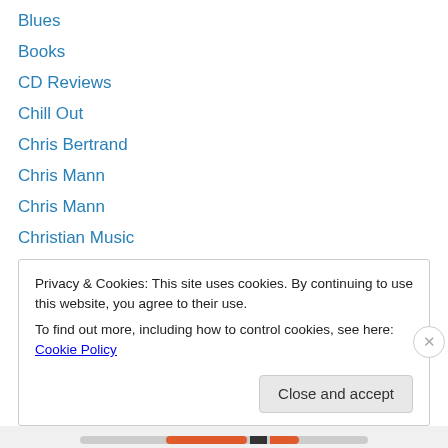Blues
Books
CD Reviews
Chill Out
Chris Bertrand
Chris Mann
Chris Mann
Christian Music
Classic Music
Concert Reviews
Contemporary Instrumental
Contemporary Jazz
Country
Privacy & Cookies: This site uses cookies. By continuing to use this website, you agree to their use.
To find out more, including how to control cookies, see here: Cookie Policy
Close and accept